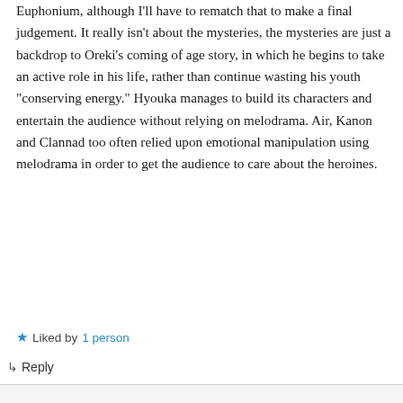Euphonium, although I'll have to rematch that to make a final judgement. It really isn't about the mysteries, the mysteries are just a backdrop to Oreki's coming of age story, in which he begins to take an active role in his life, rather than continue wasting his youth “conserving energy.” Hyouka manages to build its characters and entertain the audience without relying on melodrama. Air, Kanon and Clannad too often relied upon emotional manipulation using melodrama in order to get the audience to care about the heroines.
★ Liked by 1 person
↳ Reply